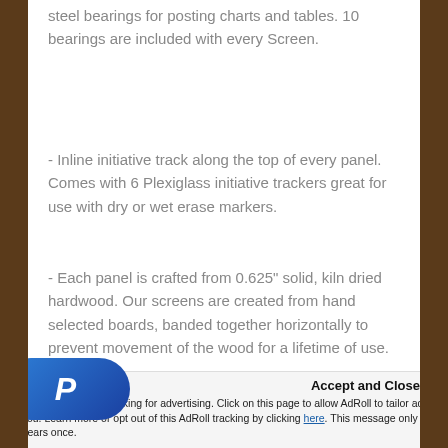steel bearings for posting charts and tables. 10 bearings are included with every Screen.
- Inline initiative track along the top of every panel. Comes with 6 Plexiglass initiative trackers great for use with dry or wet erase markers.
- Each panel is crafted from 0.625" solid, kiln dried hardwood. Our screens are created from hand selected boards, banded together horizontally to prevent movement of the wood for a lifetime of use.
Add Accessories to this screen.
You allow cross-site tracking for advertising. Click on this page to allow AdRoll to tailor ads to you. Learn more or opt out of this AdRoll tracking by clicking here. This message only appears once.